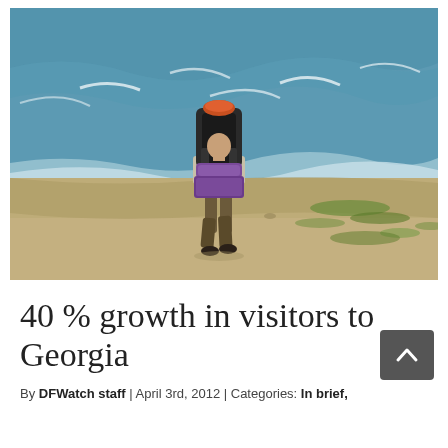[Figure (photo): A backpacker walking along a sandy beach shoreline with waves on the right. The person is seen from behind, carrying a large backpack with a purple sleeping bag or mat, wearing shorts and hiking boots.]
40 % growth in visitors to Georgia
By DFWatch staff | April 3rd, 2012 | Categories: In brief,